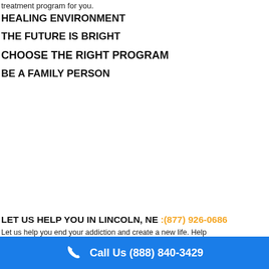treatment program for you.
HEALING ENVIRONMENT
THE FUTURE IS BRIGHT
CHOOSE THE RIGHT PROGRAM
BE A FAMILY PERSON
LET US HELP YOU IN LINCOLN, NE :(877) 926-0686
Let us help you end your addiction and create a new life. Help
Call Us (888) 840-3429